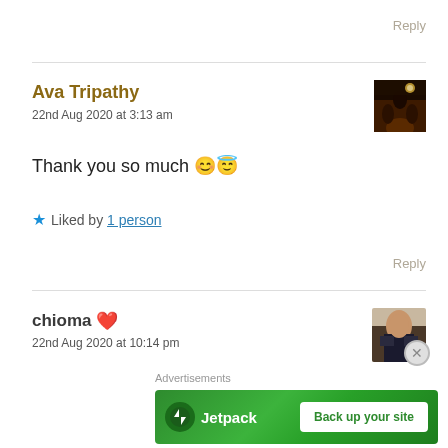Reply
Ava Tripathy
22nd Aug 2020 at 3:13 am
Thank you so much 😊😇
★ Liked by 1 person
Reply
chioma ❤
22nd Aug 2020 at 10:14 pm
Advertisements
[Figure (other): Jetpack advertisement banner with 'Back up your site' button]